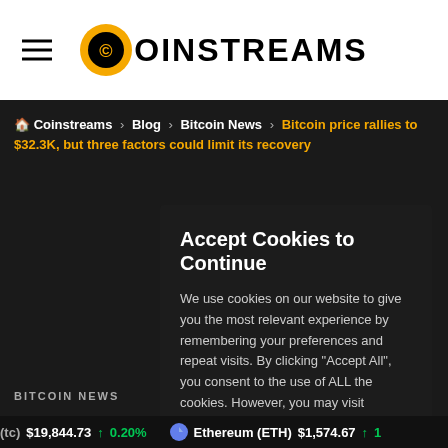Coinstreams
Coinstreams > Blog > Bitcoin News > Bitcoin price rallies to $32.3K, but three factors could limit its recovery
BITCOIN NEWS
Bitcoin price rallies to $32.3K, but three factors could limit its recovery
Accept Cookies to Continue

We use cookies on our website to give you the most relevant experience by remembering your preferences and repeat visits. By clicking "Accept All", you consent to the use of ALL the cookies. However, you may visit "Cookie Settings" to provide a controlled consent.

Cookie Settings    Accept All
(tc) $19,844.73 ↑ 0.20%    Ethereum (ETH) $1,574.67 ↑ 1